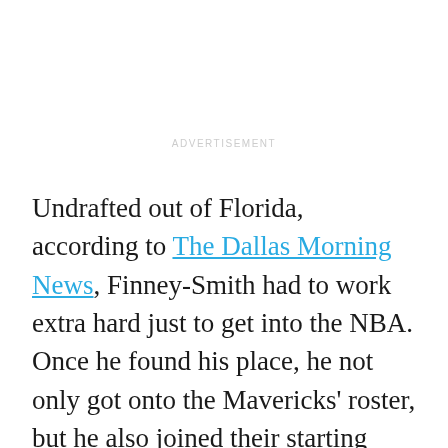ADVERTISEMENT
Undrafted out of Florida, according to The Dallas Morning News, Finney-Smith had to work extra hard just to get into the NBA. Once he found his place, he not only got onto the Mavericks' roster, but he also joined their starting lineup for most of his rookie season. As Dallas prepared for life after Nowitzki and tried to return to their winning ways, Finney was the ultimate role player.